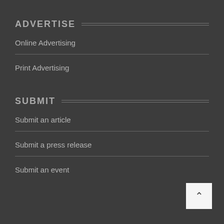ADVERTISE
Online Advertising
Print Advertising
SUBMIT
Submit an article
Submit a press release
Submit an event